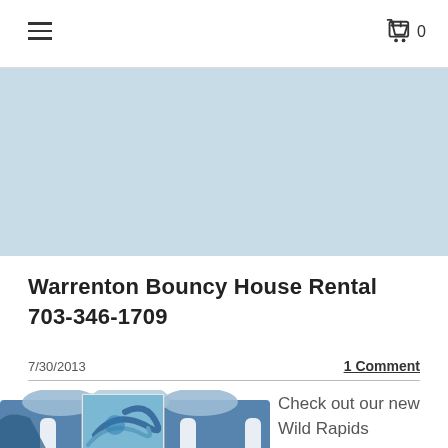≡   🛍 0
[Figure (photo): Light blue banner/header image area]
Warrenton Bouncy House Rental 703-346-1709
7/30/2013
1 Comment
[Figure (photo): Bouncy house / Wild Rapids inflatable water slide in blue and white colors, with a smaller thumbnail inset showing blue swirl pattern]
Check out our new Wild Rapids